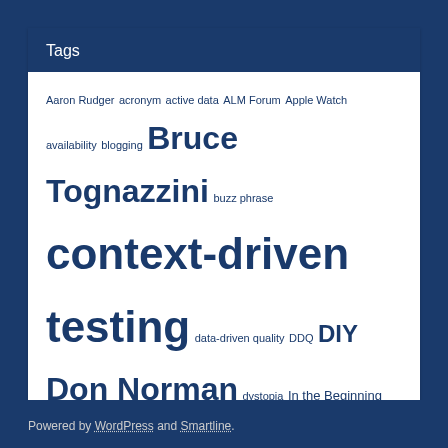Tags
Aaron Rudger acronym active data ALM Forum Apple Watch availability blogging Bruce Tognazzini buzz phrase context-driven testing data-driven quality DDQ DIY Don Norman dystopia In the Beginning was the Command Line Jakob Nielsen James Bach Keynote lecture Mark Twain mediated experience meta-photography Miyamoto Musashi mobile device Neal Stephenson Nielsen Norman Group passive data Raluca Budiu Salvador Dali self-portrait Seth Eliot smartphone software testing SQA STAREAST tablet testing in production The Book of Five Rings The Persistence of Memory TidBITS TiP video wearable device writing
Powered by WordPress and Smartline.